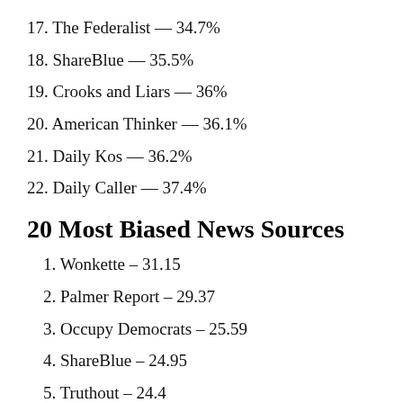17. The Federalist — 34.7%
18. ShareBlue — 35.5%
19. Crooks and Liars — 36%
20. American Thinker — 36.1%
21. Daily Kos — 36.2%
22. Daily Caller — 37.4%
20 Most Biased News Sources
1. Wonkette – 31.15
2. Palmer Report – 29.37
3. Occupy Democrats – 25.59
4. ShareBlue – 24.95
5. Truthout – 24.4